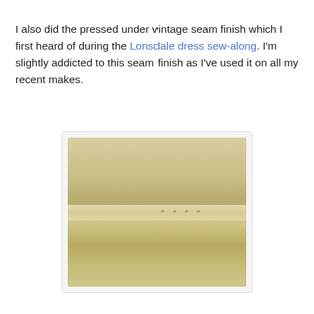I also did the pressed under vintage seam finish which I first heard of during the Lonsdale dress sew-along. I'm slightly addicted to this seam finish as I've used it on all my recent makes.
[Figure (photo): Close-up photograph of a pressed under vintage seam finish on cream/beige fabric, showing the folded and stitched seam allowance]